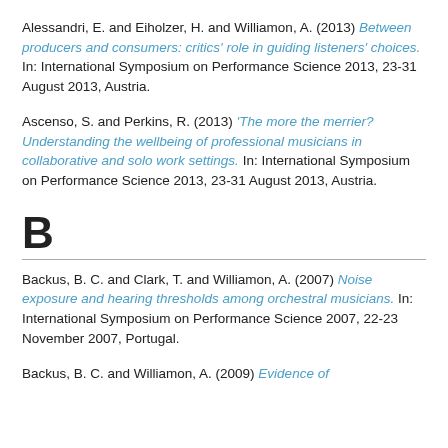Alessandri, E. and Eiholzer, H. and Williamon, A. (2013) Between producers and consumers: critics' role in guiding listeners' choices. In: International Symposium on Performance Science 2013, 23-31 August 2013, Austria.
Ascenso, S. and Perkins, R. (2013) 'The more the merrier? Understanding the wellbeing of professional musicians in collaborative and solo work settings.' In: International Symposium on Performance Science 2013, 23-31 August 2013, Austria.
B
Backus, B. C. and Clark, T. and Williamon, A. (2007) Noise exposure and hearing thresholds among orchestral musicians. In: International Symposium on Performance Science 2007, 22-23 November 2007, Portugal.
Backus, B. C. and Williamon, A. (2009) Evidence of